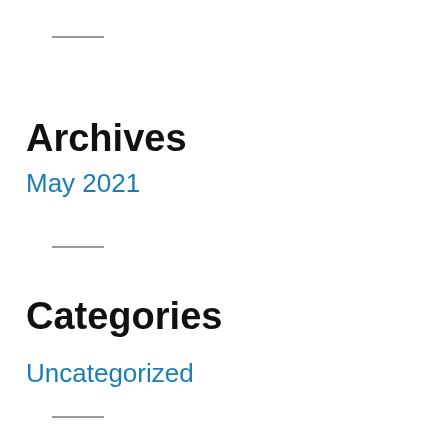Archives
May 2021
Categories
Uncategorized